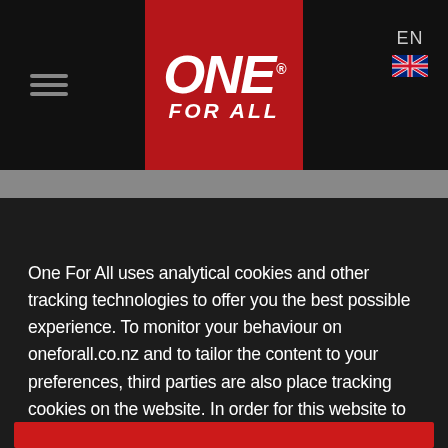[Figure (logo): One For All logo — white text on red background with hamburger menu and EN language selector]
One For All uses analytical cookies and other tracking technologies to offer you the best possible experience. To monitor your behaviour on oneforall.co.nz and to tailor the content to your preferences, third parties are also place tracking cookies on the website. In order for this website to work properly we need your consent on placing such cookies.
More info